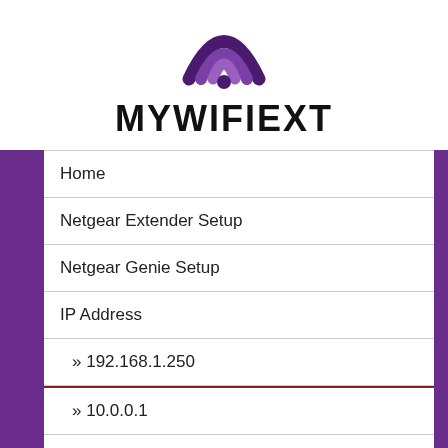[Figure (logo): WiFi signal icon in purple and dark purple gradient]
MYWIFIEXT
Home
Netgear Extender Setup
Netgear Genie Setup
IP Address
» 192.168.1.250
» 10.0.0.1
» 192.168.1.0
Troubleshooting